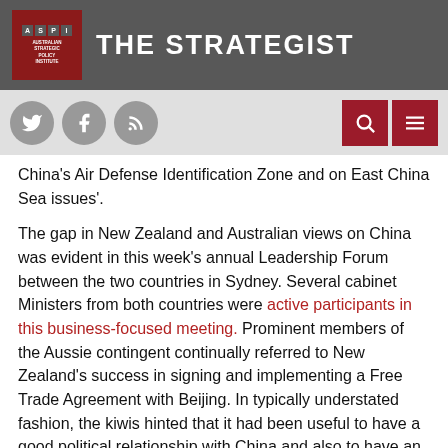THE STRATEGIST — Australian Strategic Policy Institute
China's Air Defense Identification Zone and on East China Sea issues'.
The gap in New Zealand and Australian views on China was evident in this week's annual Leadership Forum between the two countries in Sydney. Several cabinet Ministers from both countries were active participants in this business-focused meeting. Prominent members of the Aussie contingent continually referred to New Zealand's success in signing and implementing a Free Trade Agreement with Beijing. In typically understated fashion, the kiwis hinted that it had been useful to have a good political relationship with China and also to have an independent foreign policy. The second of these points is normally code for not getting too close to the US (a reputation which New Zealand's nuclear disagreement with Washington